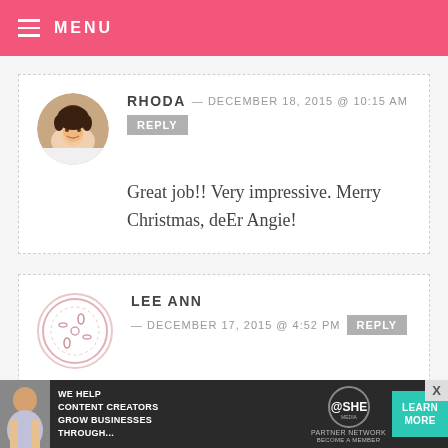MENU
RHODA — DECEMBER 18, 2015 @ 10:15 AM  REPLY
Great job!! Very impressive. Merry Christmas, deEr Angie!
LEE ANN — DECEMBER 17, 2015 @ 4:52 PM  REPLY
You have the patience of a saint! These are adorable. I'd be curious to know how many of these you made; one would be the limit of my ability! LOL
[Figure (infographic): SHE Partner Network advertisement banner: WE HELP CONTENT CREATORS GROW BUSINESSES THROUGH... LEARN MORE BECOME A MEMBER]